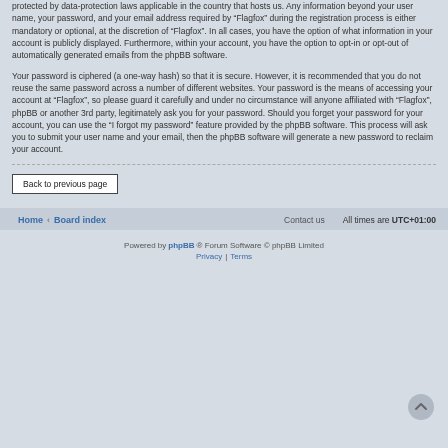protected by data-protection laws applicable in the country that hosts us. Any information beyond your user name, your password, and your email address required by “Flagfox” during the registration process is either mandatory or optional, at the discretion of “Flagfox”. In all cases, you have the option of what information in your account is publicly displayed. Furthermore, within your account, you have the option to opt-in or opt-out of automatically generated emails from the phpBB software.
Your password is ciphered (a one-way hash) so that it is secure. However, it is recommended that you do not reuse the same password across a number of different websites. Your password is the means of accessing your account at “Flagfox”, so please guard it carefully and under no circumstance will anyone affiliated with “Flagfox”, phpBB or another 3rd party, legitimately ask you for your password. Should you forget your password for your account, you can use the “I forgot my password” feature provided by the phpBB software. This process will ask you to submit your user name and your email, then the phpBB software will generate a new password to reclaim your account.
Back to previous page
Home ‹ Board index    Contact us    All times are UTC+01:00
Powered by phpBB® Forum Software © phpBB Limited
Privacy | Terms